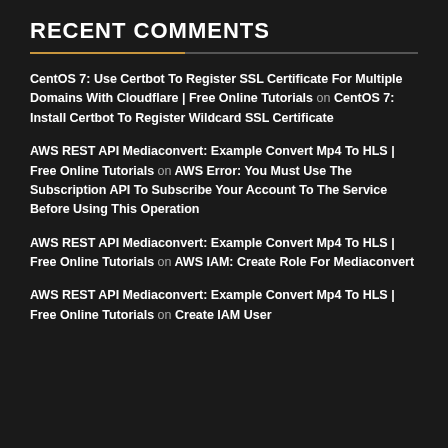RECENT COMMENTS
CentOS 7: Use Certbot To Register SSL Certificate For Multiple Domains With Cloudflare | Free Online Tutorials on CentOS 7: Install Certbot To Register Wildcard SSL Certificate
AWS REST API Mediaconvert: Example Convert Mp4 To HLS | Free Online Tutorials on AWS Error: You Must Use The Subscription API To Subscribe Your Account To The Service Before Using This Operation
AWS REST API Mediaconvert: Example Convert Mp4 To HLS | Free Online Tutorials on AWS IAM: Create Role For Mediaconvert
AWS REST API Mediaconvert: Example Convert Mp4 To HLS | Free Online Tutorials on Create IAM User